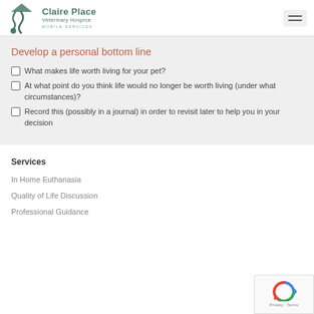Claire Place Veterinary Hospice - Mobile Services
Develop a personal bottom line
What makes life worth living for your pet?
At what point do you think life would no longer be worth living (under what circumstances)?
Record this (possibly in a journal) in order to revisit later to help you in your decision
Services
In Home Euthanasia
Quality of Life Discussion
Professional Guidance